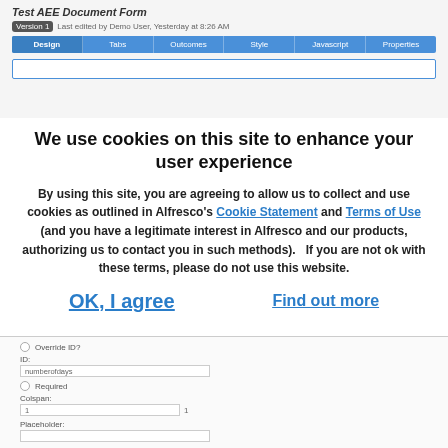[Figure (screenshot): Top portion of a web application showing a form editor titled 'Test AEE Document Form' with a Version badge, last edited info, and navigation tabs: Design, Tabs, Outcomes, Style, Javascript, Properties. Below the tabs is a blue-bordered content area.]
We use cookies on this site to enhance your user experience
By using this site, you are agreeing to allow us to collect and use cookies as outlined in Alfresco's Cookie Statement and Terms of Use (and you have a legitimate interest in Alfresco and our products, authorizing us to contact you in such methods).   If you are not ok with these terms, please do not use this website.
OK, I agree
Find out more
[Figure (screenshot): Bottom portion of a web form UI showing fields: Override ID? checkbox, ID field with value 'numberofdays', Required checkbox, Colspan field with value 1, and Placeholder field (empty).]